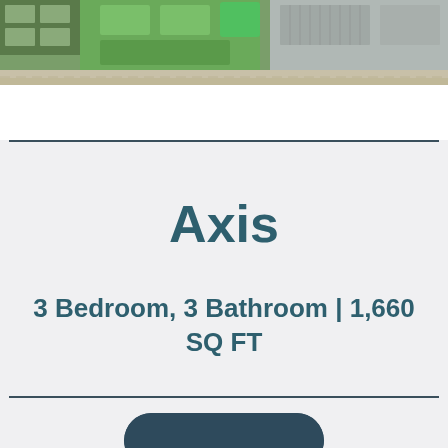[Figure (map): Aerial site plan / map view of a residential development showing green spaces, buildings, parking lots, and road layout]
Axis
3 Bedroom, 3 Bathroom | 1,660 SQ FT